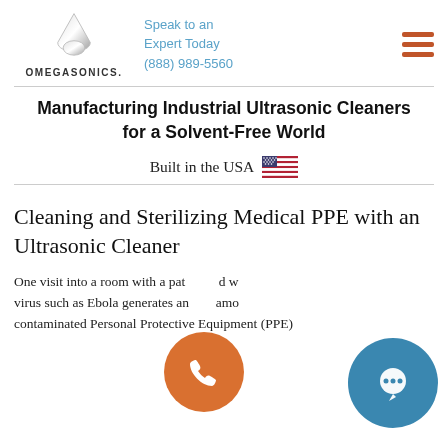OMEGASONICS. | Speak to an Expert Today (888) 989-5560
Manufacturing Industrial Ultrasonic Cleaners for a Solvent-Free World
Built in the USA 🇺🇸
Cleaning and Sterilizing Medical PPE with an Ultrasonic Cleaner
One visit into a room with a patient infected with a virus such as Ebola generates an abundance of contaminated Personal Protective Equipment (PPE)